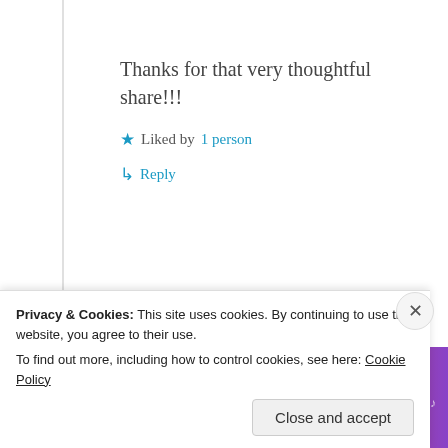Thanks for that very thoughtful share!!!
★ Liked by 1 person
↳ Reply
[Figure (illustration): Colorful Tumblr 'Fandom on Tumblr' promotional banner with orange-to-purple gradient background and decorative doodles]
Privacy & Cookies: This site uses cookies. By continuing to use this website, you agree to their use. To find out more, including how to control cookies, see here: Cookie Policy
Close and accept